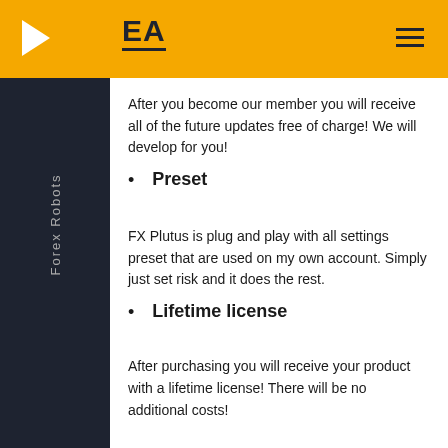EA — Forex Robots
After you become our member you will receive all of the future updates free of charge! We will develop for you!
Preset
FX Plutus is plug and play with all settings preset that are used on my own account. Simply just set risk and it does the rest.
Lifetime license
After purchasing you will receive your product with a lifetime license! There will be no additional costs!